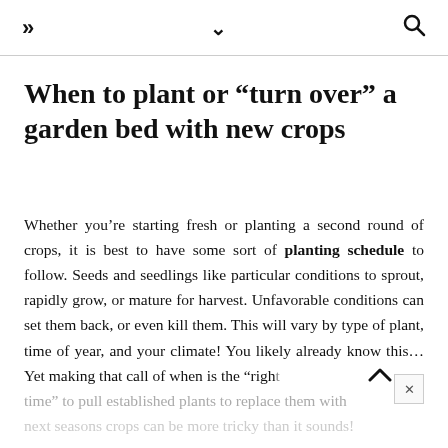» ∨ 🔍
When to plant or “turn over” a garden bed with new crops
Whether you’re starting fresh or planting a second round of crops, it is best to have some sort of planting schedule to follow. Seeds and seedlings like particular conditions to sprout, rapidly grow, or mature for harvest. Unfavorable conditions can set them back, or even kill them. This will vary by type of plant, time of year, and your climate! You likely already know this… Yet making that call of when is the “right time” to pull established plants to replace them with next seasons crops can be more tricky than it sounds!